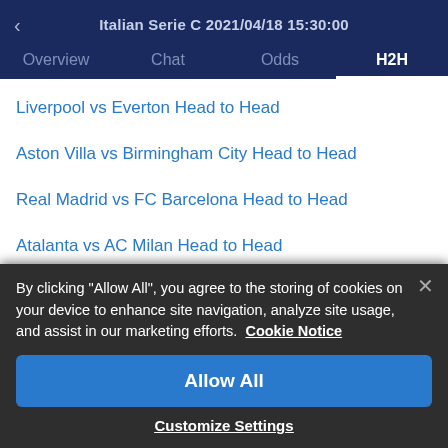< Italian Serie C 2021/04/18 15:30:00
Overview  Chat  Odds  H2H
Liverpool vs Everton Head to Head
Aston Villa vs Birmingham City Head to Head
Real Madrid vs FC Barcelona Head to Head
Atalanta vs AC Milan Head to Head
Liverpool vs Manchester United Head to Head
Manchester United vs Arsenal Head to Head
By clicking "Allow All", you agree to the storing of cookies on your device to enhance site navigation, analyze site usage, and assist in our marketing efforts.  Cookie Notice
Allow All
Customize Settings